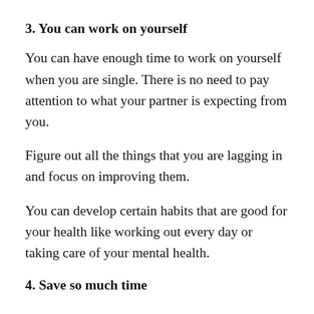3. You can work on yourself
You can have enough time to work on yourself when you are single. There is no need to pay attention to what your partner is expecting from you.
Figure out all the things that you are lagging in and focus on improving them.
You can develop certain habits that are good for your health like working out every day or taking care of your mental health.
4. Save so much time